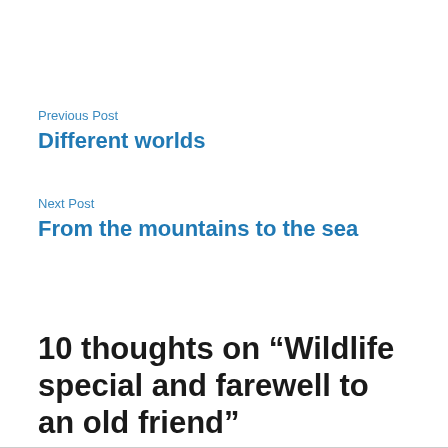Previous Post
Different worlds
Next Post
From the mountains to the sea
10 thoughts on “Wildlife special and farewell to an old friend”